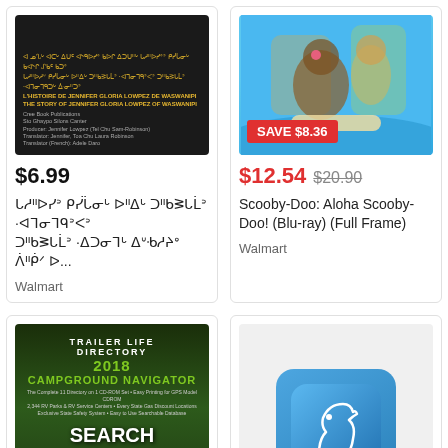[Figure (photo): Book cover with dark background showing Cree syllabics text and orange/gold text for L'histoire de Jennifer Gloria Lowpez de Waswanipi]
$6.99
ᒐᓱᐦᐅᓯᐣ ᑭᓰᒑᓂᒡ ᐅᐦᐃᒡ ᑐᐦᑲᕒᒐᒫᐣ ·ᐊᒣᓂᒣᑫᐣᐸᐣ ᑐᐦᑲᕒᒐᒫᐣ ·ᐃᑐᓂᒣᒡ ᐃᐡᑾᓱᔨᐤ ᐲᐦ...
Walmart
[Figure (photo): Scooby-Doo Aloha Scooby-Doo Blu-ray cover with cartoon characters surfing]
SAVE $8.36
$12.54  $20.90
Scooby-Doo: Aloha Scooby-Doo! (Blu-ray) (Full Frame)
Walmart
[Figure (photo): 2018 Trailer Life Directory Campground Navigator book cover showing forest road with text SEARCH PLAN GO]
$6.99
[Figure (photo): Chess app icon showing white knight chess piece on blue gradient background]